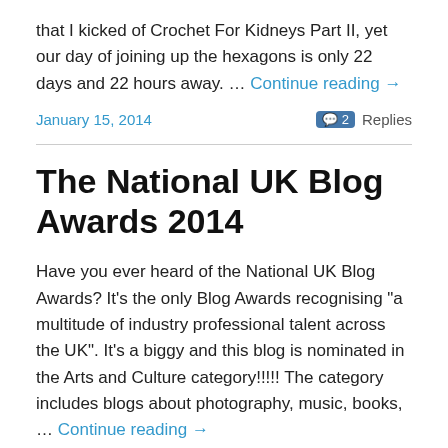that I kicked of Crochet For Kidneys Part II, yet our day of joining up the hexagons is only 22 days and 22 hours away. … Continue reading →
January 15, 2014   2 Replies
The National UK Blog Awards 2014
Have you ever heard of the National UK Blog Awards? It's the only Blog Awards recognising "a multitude of industry professional talent across the UK". It's a biggy and this blog is nominated in the Arts and Culture category!!!!! The category includes blogs about photography, music, books, … Continue reading →